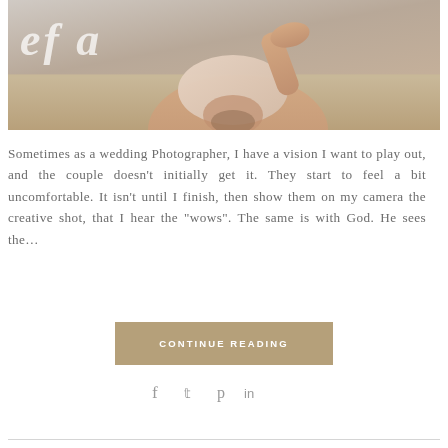[Figure (photo): A man covering his eyes with a fabric cloth, raising his hand to his face, outdoors in an open field with overcast sky. Decorative italic script text partially visible at top left as watermark overlay.]
Sometimes as a wedding Photographer, I have a vision I want to play out, and the couple doesn't initially get it. They start to feel a bit uncomfortable. It isn't until I finish, then show them on my camera the creative shot, that I hear the “wows”. The same is with God. He sees the…
CONTINUE READING
f  🐦  p  in